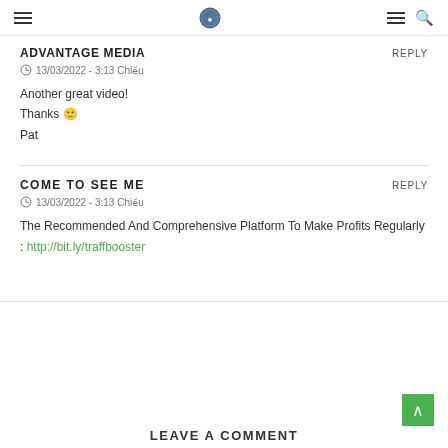ADVANTAGE MEDIA navigation header
ADVANTAGE MEDIA
13/03/2022 - 3:13 Chiều
Another great video!
Thanks 🙂
Pat
COME TO SEE ME
13/03/2022 - 3:13 Chiều
The Recommended And Comprehensive Platform To Make Profits Regularly : http://bit.ly/traffbooster
LEAVE A COMMENT